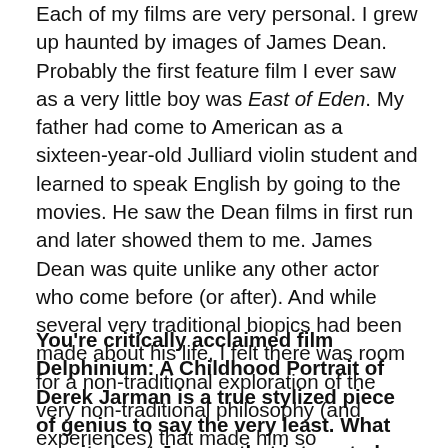Each of my films are very personal. I grew up haunted by images of James Dean. Probably the first feature film I ever saw as a very little boy was East of Eden. My father had come to American as a sixteen-year-old Julliard violin student and learned to speak English by going to the movies. He saw the Dean films in first run and later showed them to me. James Dean was quite unlike any other actor who come before (or after). And while several very traditional biopics had been made about his life, I felt there was room for a non-traditional exploration of the very non-traditional philosophy (and experiences) that made him so extraordinary.
You're critically acclaimed film Delphinium: A Childhood Portrait of Derek Jarman is a true stylized piece of genius to say the very least. What was it about Jarman that interested you enough to create a